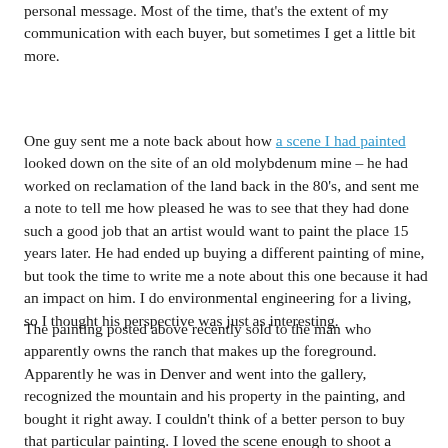personal message. Most of the time, that's the extent of my communication with each buyer, but sometimes I get a little bit more.
One guy sent me a note back about how a scene I had painted looked down on the site of an old molybdenum mine – he had worked on reclamation of the land back in the 80's, and sent me a note to tell me how pleased he was to see that they had done such a good job that an artist would want to paint the place 15 years later. He had ended up buying a different painting of mine, but took the time to write me a note about this one because it had an impact on him. I do environmental engineering for a living, so I thought his perspective was just as interesting.
The painting posted above recently sold to the man who apparently owns the ranch that makes up the foreground. Apparently he was in Denver and went into the gallery, recognized the mountain and his property in the painting, and bought it right away. I couldn't think of a better person to buy that particular painting. I loved the scene enough to shoot a picture from the side of the highway on a REALLY cold morning – what better home for the painting than with a